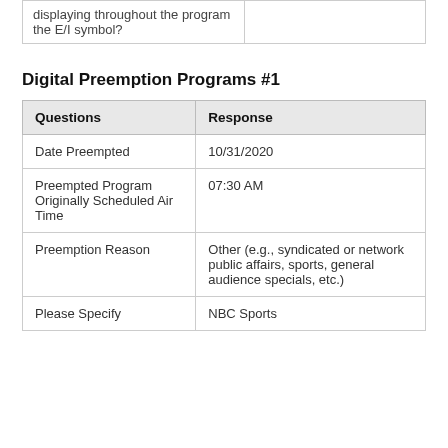| Questions | Response |
| --- | --- |
| displaying throughout the program the E/I symbol? |  |
Digital Preemption Programs #1
| Questions | Response |
| --- | --- |
| Date Preempted | 10/31/2020 |
| Preempted Program Originally Scheduled Air Time | 07:30 AM |
| Preemption Reason | Other (e.g., syndicated or network public affairs, sports, general audience specials, etc.) |
| Please Specify | NBC Sports |